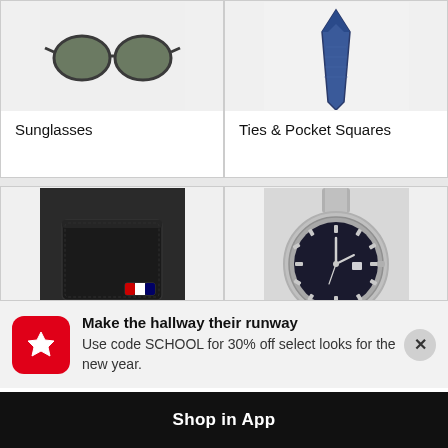[Figure (photo): Sunglasses product image on light grey background]
Sunglasses
[Figure (photo): Blue/navy tie product image on light grey background]
Ties & Pocket Squares
[Figure (photo): Black leather Tommy Hilfiger bifold wallet on dark background]
[Figure (photo): Silver stainless steel watch with black dial on grey background]
Make the hallway their runway
Use code SCHOOL for 30% off select looks for the new year.
Shop in App